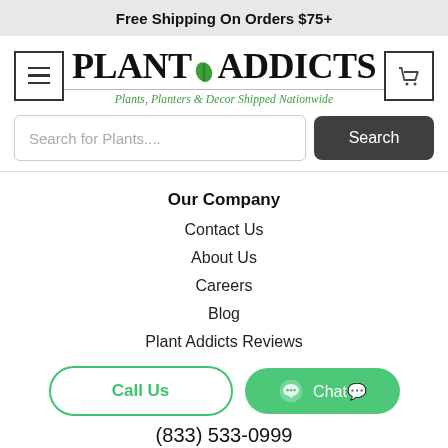Free Shipping On Orders $75+
[Figure (logo): Plant Addicts logo with hamburger menu icon, cart icon, and tagline 'Plants, Planters & Decor Shipped Nationwide']
[Figure (screenshot): Search bar with placeholder 'Search for Plants....' and a dark Search button]
Our Company
Contact Us
About Us
Careers
Blog
Plant Addicts Reviews
[Figure (screenshot): Call Us button (green outline) and Chat button (solid green with chat icon)]
(833) 533-0999